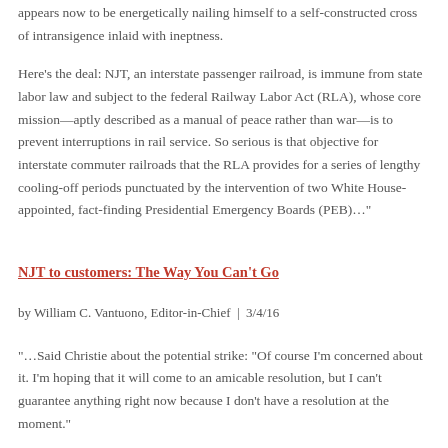appears now to be energetically nailing himself to a self-constructed cross of intransigence inlaid with ineptness.
Here's the deal: NJT, an interstate passenger railroad, is immune from state labor law and subject to the federal Railway Labor Act (RLA), whose core mission—aptly described as a manual of peace rather than war—is to prevent interruptions in rail service. So serious is that objective for interstate commuter railroads that the RLA provides for a series of lengthy cooling-off periods punctuated by the intervention of two White House-appointed, fact-finding Presidential Emergency Boards (PEB)…"
NJT to customers: The Way You Can't Go
by William C. Vantuono, Editor-in-Chief  |  3/4/16
"…Said Christie about the potential strike: "Of course I'm concerned about it. I'm hoping that it will come to an amicable resolution, but I can't guarantee anything right now because I don't have a resolution at the moment."
No, Governor, you're not concerned about it, and no, you don't have a